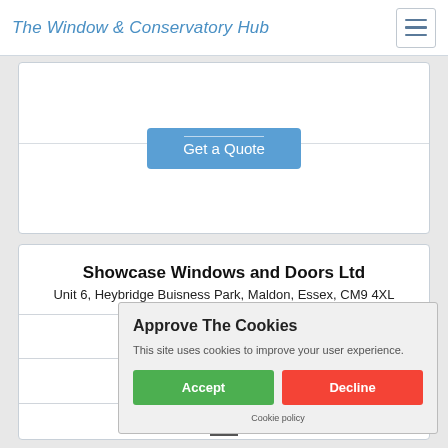The Window & Conservatory Hub
[Figure (screenshot): Get a Quote button inside a white card]
Showcase Windows and Doors Ltd
Unit 6, Heybridge Buisness Park, Maldon, Essex, CM9 4XL
11.1...
[Figure (other): Three grey star rating icons]
[Figure (other): Empty checkbox square]
Approve The Cookies
This site uses cookies to improve your user experience.
Accept  Decline
Cookie policy